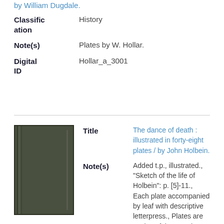by William Dugdale.
| Field | Value |
| --- | --- |
| Classification | History |
| Note(s) | Plates by W. Hollar. |
| Digital ID | Hollar_a_3001 |
[Figure (photo): Book cover thumbnail, dark olive/green color]
| Field | Value |
| --- | --- |
| Title | The dance of death : illustrated in forty-eight plates / by John Holbein. |
| Note(s) | Added t.p., illustrated., "Sketch of the life of Holbein": p. [5]-11., Each plate accompanied by leaf with descriptive letterpress., Plates are copies of the Deuchar engravings (after Hollar), |